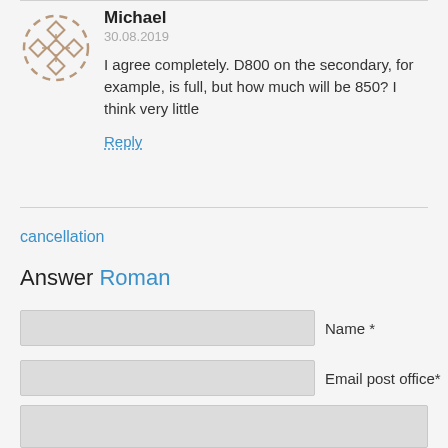Michael
30.08.2019
I agree completely. D800 on the secondary, for example, is full, but how much will be 850? I think very little
Reply
cancellation
Answer Roman
Name *
Email post office*